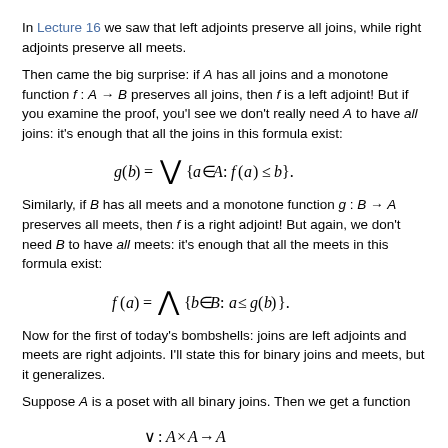In Lecture 16 we saw that left adjoints preserve all joins, while right adjoints preserve all meets.
Then came the big surprise: if A has all joins and a monotone function f : A → B preserves all joins, then f is a left adjoint! But if you examine the proof, you'l see we don't really need A to have all joins: it's enough that all the joins in this formula exist:
Similarly, if B has all meets and a monotone function g : B → A preserves all meets, then f is a right adjoint! But again, we don't need B to have all meets: it's enough that all the meets in this formula exist:
Now for the first of today's bombshells: joins are left adjoints and meets are right adjoints. I'll state this for binary joins and meets, but it generalizes.
Suppose A is a poset with all binary joins. Then we get a function